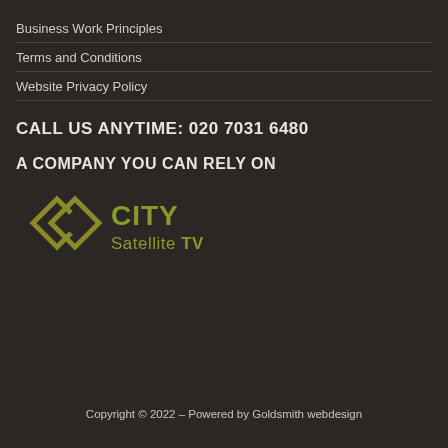Business Work Principles
Terms and Conditions
Website Privacy Policy
CALL US ANYTIME: 020 7031 6480
A COMPANY YOU CAN RELY ON
[Figure (logo): City Satellite TV logo with diamond-shaped interlinked rings icon in olive/gold color and text 'CITY Satellite TV']
Copyright © 2022 – Powered by Goldsmith webdesign